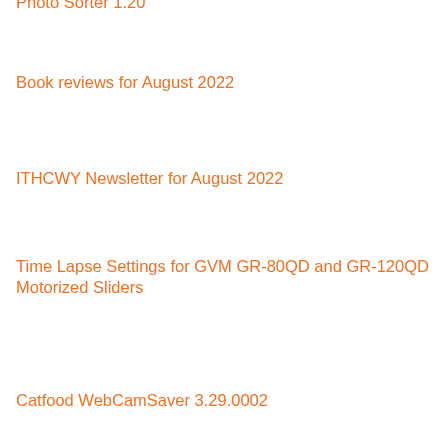Photo Sorter 1.20
Book reviews for August 2022
ITHCWY Newsletter for August 2022
Time Lapse Settings for GVM GR-80QD and GR-120QD Motorized Sliders
Catfood WebCamSaver 3.29.0002
15 minutes of terror, or how the UK has changed in four years
Control LIFX WiFi light bulbs from Google Apps Script
Windows 11 Bluetooth Usability Crime Report
HBR on the Wrong Patent Reform
Book reviews for July 2022